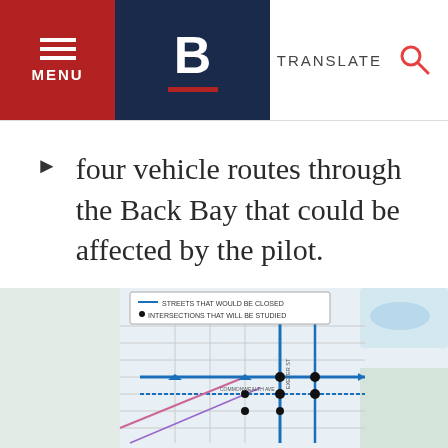MENU | B | TRANSLATE
four vehicle routes through the Back Bay that could be affected by the pilot.
[Figure (map): Street map of Back Bay area showing four vehicle routes with blue lines indicating affected roads and black dots marking intersections being studied. Legend shows 'STREETS THAT WOULD BE CLOSED' and 'INTERSECTIONS THAT WILL BE STUDIED'.]
BACK TO TOP